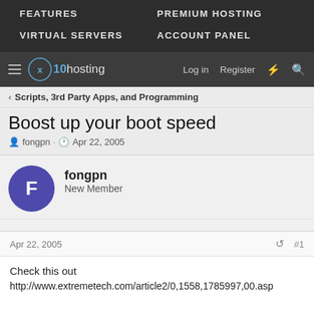FEATURES   PREMIUM HOSTING   VIRTUAL SERVERS   ACCOUNT PANEL
x10hosting  Log in  Register
Scripts, 3rd Party Apps, and Programming
Boost up your boot speed
fongpn · Apr 22, 2005
fongpn
New Member
Apr 22, 2005  #1
Check this out
http://www.extremetech.com/article2/0,1558,1785997,00.asp